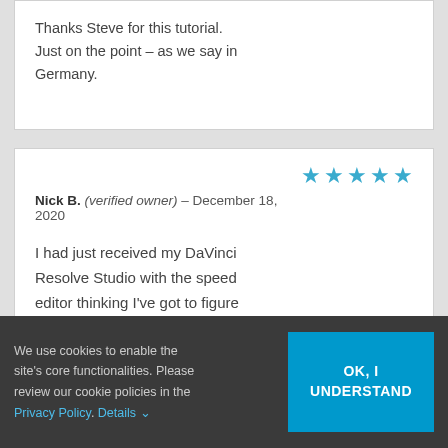Thanks Steve for this tutorial. Just on the point – as we say in Germany.
Nick B. (verified owner) – December 18, 2020
[Figure (other): 5 blue stars rating]
I had just received my DaVinci Resolve Studio with the speed editor thinking I've got to figure this out when Ripple training came to the rescue by releasing
We use cookies to enable the site's core functionalities. Please review our cookie policies in the Privacy Policy. Details ▾
OK, I UNDERSTAND